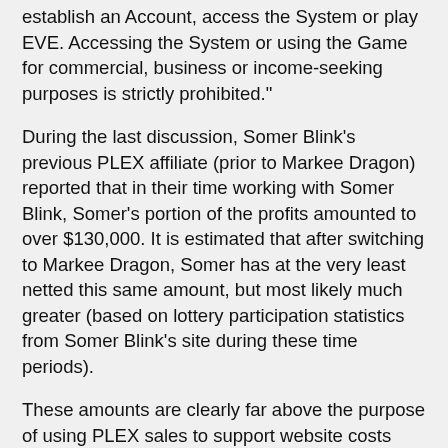establish an Account, access the System or play EVE. Accessing the System or using the Game for commercial, business or income-seeking purposes is strictly prohibited."
During the last discussion, Somer Blink's previous PLEX affiliate (prior to Markee Dragon) reported that in their time working with Somer Blink, Somer's portion of the profits amounted to over $130,000. It is estimated that after switching to Markee Dragon, Somer has at the very least netted this same amount, but most likely much greater (based on lottery participation statistics from Somer Blink's site during these time periods).
These amounts are clearly far above the purpose of using PLEX sales to support website costs which has been allowed by CCP, and fall squarely in the realm of a profit-generating